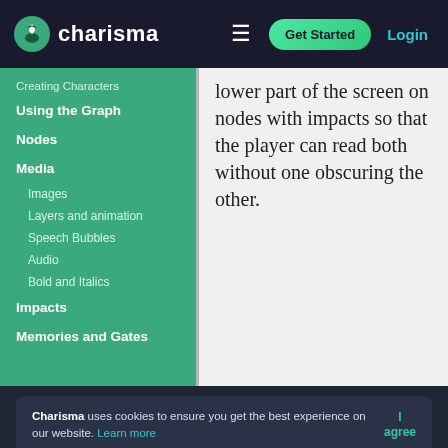charisma | Get Started | Login
Creating Characters
Using the Graph
Nodes
Media
Images
Layers and animation
Speech Bubbles
Audio
Bold and Italics
Impacts
Memories and Gates
lower part of the screen on nodes with impacts so that the player can read both without one obscuring the other.
Charisma uses cookies to ensure you get the best experience on our website. Learn more | I agree
Charisma is a plug-’n’-play platform for creating interactive